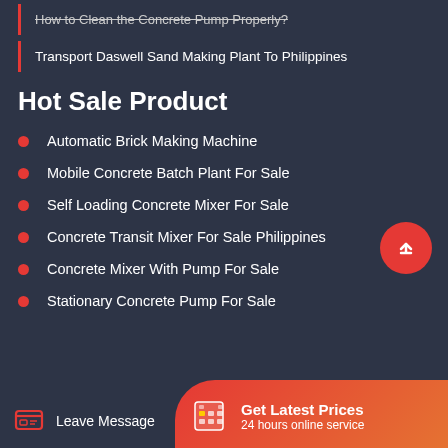How to Clean the Concrete Pump Properly?
Transport Daswell Sand Making Plant To Philippines
Hot Sale Product
Automatic Brick Making Machine
Mobile Concrete Batch Plant For Sale
Self Loading Concrete Mixer For Sale
Concrete Transit Mixer For Sale Philippines
Concrete Mixer With Pump For Sale
Stationary Concrete Pump For Sale
Leave Message
Get Latest Prices
24 hours online service